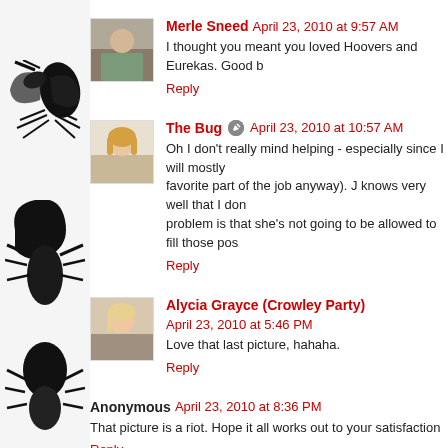Merle Sneed  April 23, 2010 at 9:57 AM
I thought you meant you loved Hoovers and Eurekas. Good b…
Reply
The Bug  April 23, 2010 at 10:57 AM
Oh I don't really mind helping - especially since I will mostly… favorite part of the job anyway). J knows very well that I don… problem is that she's not going to be allowed to fill those pos…
Reply
Alycia Grayce (Crowley Party)  April 23, 2010 at 5:46 PM
Love that last picture, hahaha.
Reply
Anonymous  April 23, 2010 at 8:36 PM
That picture is a riot. Hope it all works out to your satisfaction…
Reply